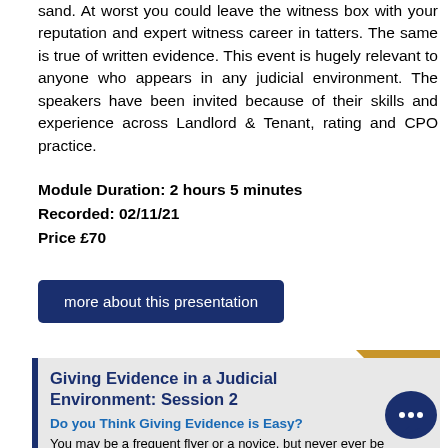sand. At worst you could leave the witness box with your reputation and expert witness career in tatters. The same is true of written evidence. This event is hugely relevant to anyone who appears in any judicial environment. The speakers have been invited because of their skills and experience across Landlord & Tenant, rating and CPO practice.
Module Duration: 2 hours 5 minutes
Recorded: 02/11/21
Price £70
more about this presentation
Giving Evidence in a Judicial Environment: Session 2
Do you Think Giving Evidence is Easy?
You may be a frequent flyer or a novice, but never ever be